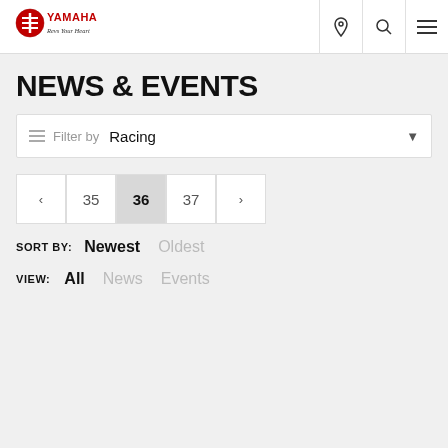[Figure (logo): Yamaha logo with 'Revs Your Heart' tagline in red and black]
NEWS & EVENTS
Filter by  Racing
< 35 36 37 >
SORT BY: Newest  Oldest
VIEW: All  News  Events